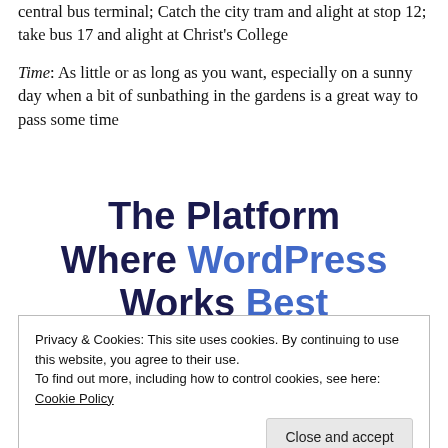central bus terminal; Catch the city tram and alight at stop 12; take bus 17 and alight at Christ's College
Time: As little or as long as you want, especially on a sunny day when a bit of sunbathing in the gardens is a great way to pass some time
The Platform Where WordPress Works Best
Privacy & Cookies: This site uses cookies. By continuing to use this website, you agree to their use.
To find out more, including how to control cookies, see here: Cookie Policy
Close and accept